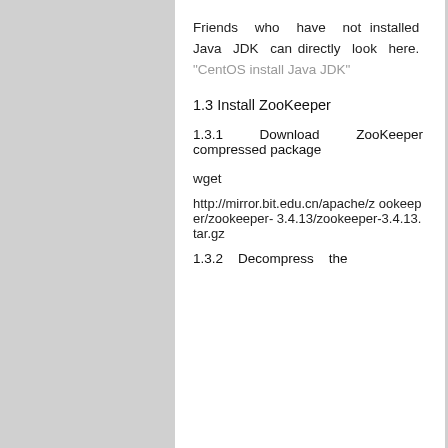Friends who have not installed Java JDK can directly look here. "CentOS install Java JDK"
1.3 Install ZooKeeper
1.3.1 Download ZooKeeper compressed package
wget
http://mirror.bit.edu.cn/apache/zookeeper/zookeeper-3.4.13/zookeeper-3.4.13.tar.gz
1.3.2 Decompress the